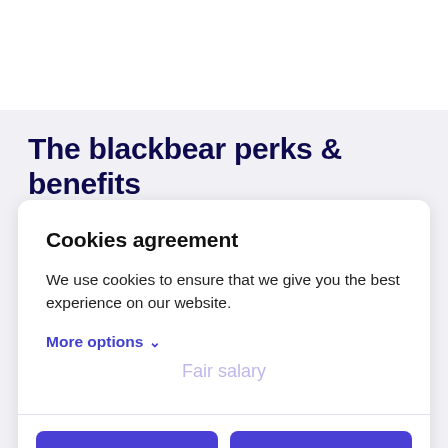The blackbear perks & benefits
Cookies agreement
We use cookies to ensure that we give you the best experience on our website.
More options ∨
Fair salary
Agree to necessary
Agree to all